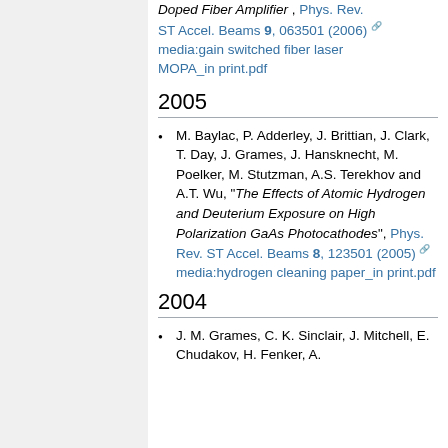Doped Fiber Amplifier, Phys. Rev. ST Accel. Beams 9, 063501 (2006) media:gain switched fiber laser MOPA_in print.pdf
2005
M. Baylac, P. Adderley, J. Brittian, J. Clark, T. Day, J. Grames, J. Hansknecht, M. Poelker, M. Stutzman, A.S. Terekhov and A.T. Wu, "The Effects of Atomic Hydrogen and Deuterium Exposure on High Polarization GaAs Photocathodes", Phys. Rev. ST Accel. Beams 8, 123501 (2005) media:hydrogen cleaning paper_in print.pdf
2004
J. M. Grames, C. K. Sinclair, J. Mitchell, E. Chudakov, H. Fenker, A.